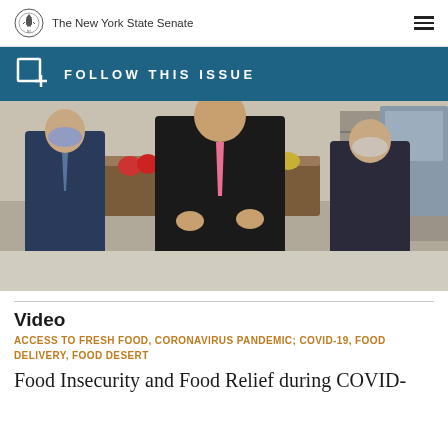The New York State Senate
FOLLOW THIS ISSUE
[Figure (photo): Three men in suits wearing masks standing in a grocery store with fresh produce visible in the background]
Video
ACCESS TO FRESH FOOD, CORONAVIRUS PANDEMIC; COVID-19, FOOD DELIVERY, FOOD DESERT
Food Insecurity and Food Relief during COVID-